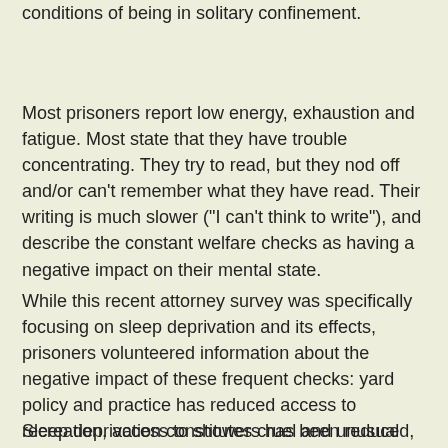conditions of being in solitary confinement.
Most prisoners report low energy, exhaustion and fatigue. Most state that they have trouble concentrating. They try to read, but they nod off and/or can't remember what they have read. Their writing is much slower ("I can't think to write"), and describe the constant welfare checks as having a negative impact on their mental state.
While this recent attorney survey was specifically focusing on sleep deprivation and its effects, prisoners volunteered information about the negative impact of these frequent checks: yard policy and practice has reduced access to recreation, access to showers has been reduced, programs and meals are being delayed, and property for those newly transferred to Pelican Bay is still being delayed and withheld.
Sleep deprivation constitutes cruel and unusual punishment